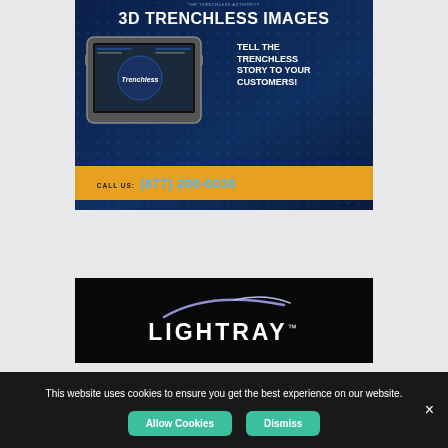[Figure (advertisement): Advertisement for 3D Trenchless Images. Dark blue background with dot pattern. Headline '3D TRENCHLESS IMAGES', tagline 'TELL THE TRENCHLESS STORY TO YOUR CUSTOMERS!', image of a rugged tablet device, and yellow call-to-action band with text 'CALL US: (877) 200-6036'.]
[Figure (logo): LightRay logo on black background — white bold uppercase text 'LIGHTRAY' with a purple/lavender swoosh arc above it and a trademark symbol.]
This website uses cookies to ensure you get the best experience on our website.
Allow Cookies | Dismiss